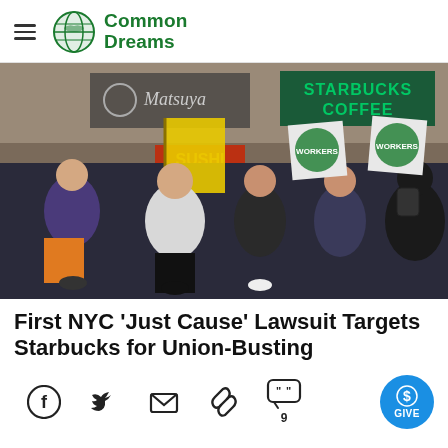Common Dreams
[Figure (photo): Protesters marching in front of a Starbucks Coffee store, carrying yellow flags and Starbucks Workers United signs, chanting with fists raised.]
First NYC 'Just Cause' Lawsuit Targets Starbucks for Union-Busting